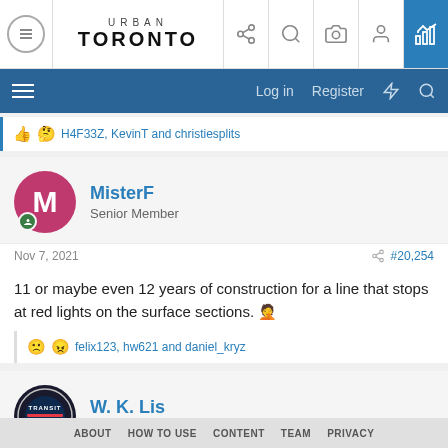Urban Toronto
H4F33Z, KevinT and christiesplits
MisterF
Senior Member
Nov 7, 2021
#20,254
11 or maybe even 12 years of construction for a line that stops at red lights on the surface sections.
felix123, hw621 and daniel_kryz
W. K. Lis
Superstar
ABOUT   HOW TO USE   CONTENT   TEAM   PRIVACY